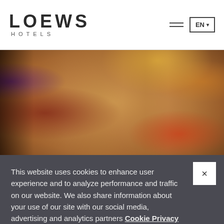LOEWS HOTELS
[Figure (photo): Blurred close-up photo of paper grocery bags filled with colorful fruits and vegetables including red tomatoes, yellow peppers, and purple onions]
This website uses cookies to enhance user experience and to analyze performance and traffic on our website. We also share information about your use of our site with our social media, advertising and analytics partners Cookie Privacy Policy
Cookie Settings
Accept All Cookies